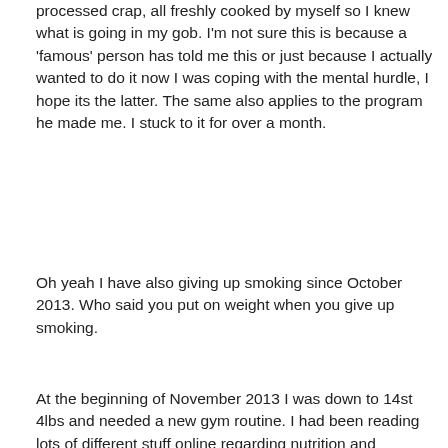processed crap, all freshly cooked by myself so I knew what is going in my gob. I'm not sure this is because a 'famous' person has told me this or just because I actually wanted to do it now I was coping with the mental hurdle, I hope its the latter. The same also applies to the program he made me. I stuck to it for over a month.
Oh yeah I have also giving up smoking since October 2013. Who said you put on weight when you give up smoking.
At the beginning of November 2013 I was down to 14st 4lbs and needed a new gym routine. I had been reading lots of different stuff online regarding nutrition and resistance training. So instead of getting another program made up, I made up my own 12-week training program. I download the Jefit App, which allowed me to add and track